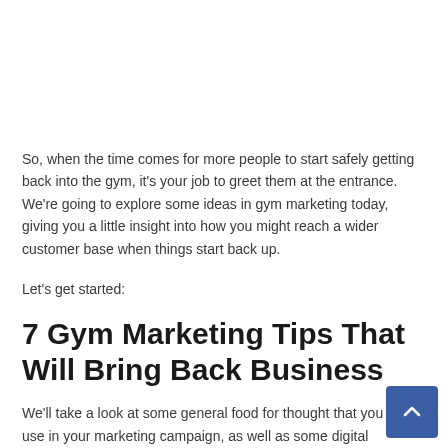So, when the time comes for more people to start safely getting back into the gym, it's your job to greet them at the entrance. We're going to explore some ideas in gym marketing today, giving you a little insight into how you might reach a wider customer base when things start back up.
Let's get started:
7 Gym Marketing Tips That Will Bring Back Business
We'll take a look at some general food for thought that you might use in your marketing campaign, as well as some digital marketing ideas that could help out a great deal.